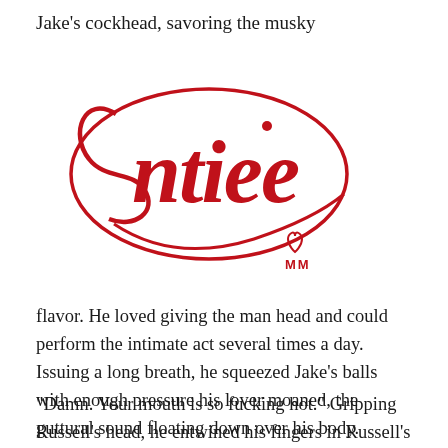Jake's cockhead, savoring the musky
[Figure (logo): Entiee script logo in red cursive lettering with a small heart and MM mark below]
flavor. He loved giving the man head and could perform the intimate act several times a day. Issuing a long breath, he squeezed Jake's balls with enough pressure his lover moaned, the guttural sound floating down over his body.
“Damn. Your mouth is so fucking hot.” Gripping Russell’s head, he entwined his fingers in Russell’s hair and simply held him in place. “Suck me hard. I want to cum in your